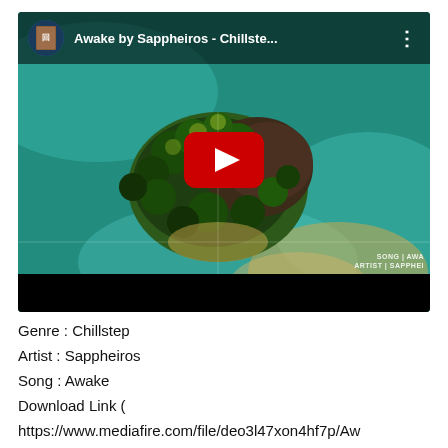[Figure (screenshot): YouTube video thumbnail showing aerial view of a small tropical island surrounded by teal water, with YouTube play button overlay. Video title: 'Awake by Sappheiros - Chillste...' with channel icon and three-dot menu. Watermark text: 'SONG | AWA' and 'ARTIST | SAPPHEI'. Black bar at bottom.]
Genre : Chillstep
Artist : Sappheiros
Song : Awake
Download Link (
https://www.mediafire.com/file/deo3l47xon4hf7p/Aw